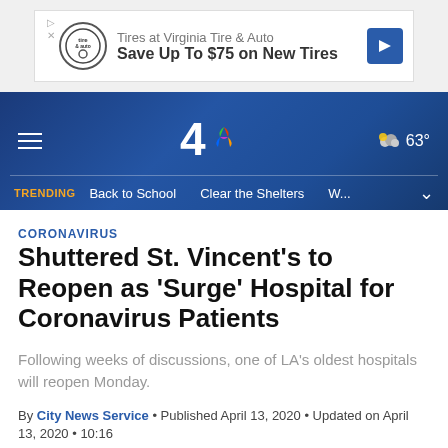[Figure (screenshot): Advertisement banner for Virginia Tire & Auto showing logo, text 'Tires at Virginia Tire & Auto / Save Up To $75 on New Tires', and a blue arrow icon]
[Figure (screenshot): NBC 4 news website header with dark blue background, hamburger menu, NBC 4 logo with peacock, weather showing 63 degrees, and trending bar with 'Back to School', 'Clear the Shelters', 'W...']
CORONAVIRUS
Shuttered St. Vincent's to Reopen as 'Surge' Hospital for Coronavirus Patients
Following weeks of discussions, one of LA's oldest hospitals will reopen Monday.
By City News Service • Published April 13, 2020 • Updated on April 13, 2020 • 10:16